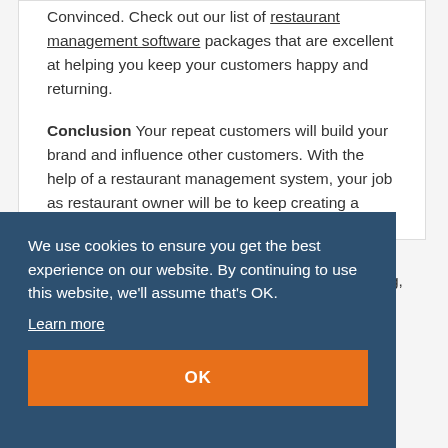Convinced. Check out our list of restaurant management software packages that are excellent at helping you keep your customers happy and returning.
Conclusion Your repeat customers will build your brand and influence other customers. With the help of a restaurant management system, your job as restaurant owner will be to keep creating a menu and …g,
We use cookies to ensure you get the best experience on our website. By continuing to use this website, we'll assume that's OK.
Learn more
OK